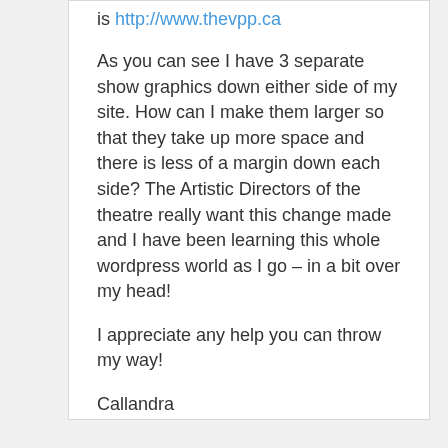is http://www.thevpp.ca
As you can see I have 3 separate show graphics down either side of my site. How can I make them larger so that they take up more space and there is less of a margin down each side? The Artistic Directors of the theatre really want this change made and I have been learning this whole wordpress world as I go – in a bit over my head!
I appreciate any help you can throw my way!
Callandra